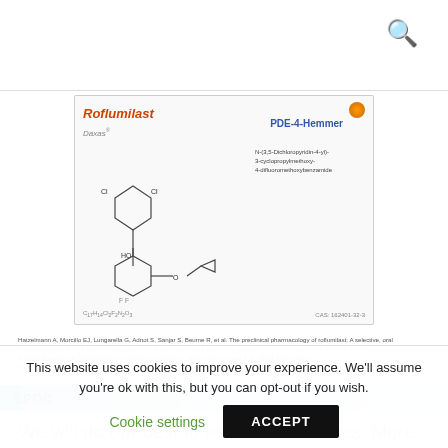[Figure (illustration): Roflumilast (Daxas) drug information card showing molecular structure diagram, chemical formula C17H14Cl2F2N2O3, CAS number 162401-32-3, and classification as PDE-4-Hemmer (phosphodiesterase-4 inhibitor)]
Hatzelmann A, Morcillo EJ, Lungarella G, Adnot S, Sanjar S, Beume R, et al. The preclinical pharmacology of roflumilast: A selective, oral phosphodiesterase 4 inhibitor in development for chronic obstructive pulmonary disease. Pulm Pharmacol Ther. 2000;13:255-56. Agencia Española de Medicamentos y Productos Sanitarios. [sede Web]. [acceso 2-11-2013]. Disponible en: https://sinaem4.agemed.es/consaem/fichasTecnicas.do?metodo=detalleForm. 2011.
EPOC
We will do our best to resolve any issues. More on the noninvasive diagnosis of pulmonary hypertension: Hasta el momento, la EPOC no tiene cura.
This website uses cookies to improve your experience. We'll assume you're ok with this, but you can opt-out if you wish.
Cookie settings
ACCEPT